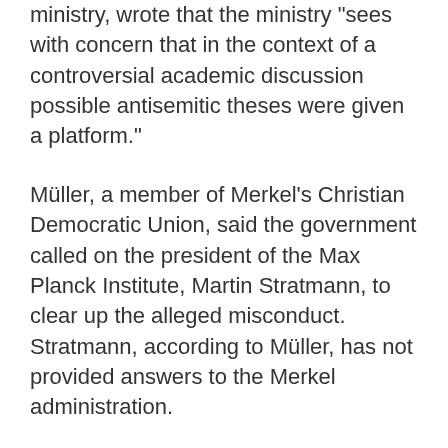ministry, wrote that the ministry 'sees with concern that in the context of a controversial academic discussion possible antisemitic theses were given a platform.'
Müller, a member of Merkel's Christian Democratic Union, said the government called on the president of the Max Planck Institute, Martin Stratmann, to clear up the alleged misconduct. Stratmann, according to Müller, has not provided answers to the Merkel administration.
Pro-Hezbollah activist and US academic Finkelstein delivered two lectures, including one titled “Gaza: An Inquest into its Martyrdom.”
The talks were held in January at the Max Planck Institute branch in the city of Halle, in the state of Saxony-Anhalt.
The institute under Stratmann’s leadership has been mired in turmoil since the Halle branch of the institute allegedly lied to the public about the content of Finkelstein’s pro